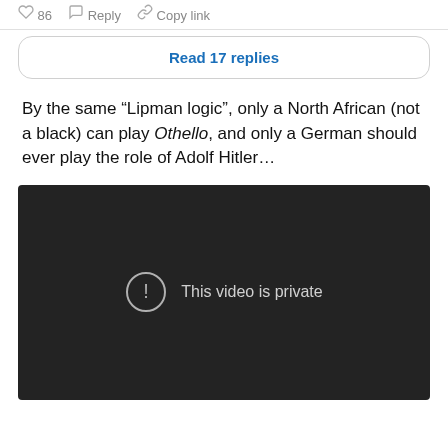86  Reply  Copy link
Read 17 replies
By the same “Lipman logic”, only a North African (not a black) can play Othello, and only a German should ever play the role of Adolf Hitler…
[Figure (screenshot): Dark video player showing message: This video is private]